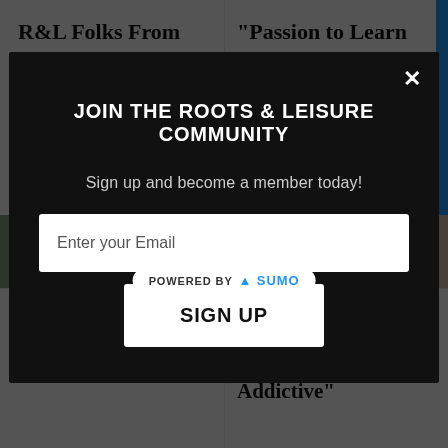R&L Folks From Across The Country Share Top 5 Travel Locations in India
“Passion to Learn About New Cultures, Planning and Saving up!” - Arenla from
JOIN THE ROOTS & LEISURE COMMUNITY
Sign up and become a member today!
Enter your Email
SIGN UP
POWERED BY SUMO
"Travel Does the Heart Good" - Boba Nandeibam from
"Travelling Is Like A Soul Searching For Me And It's Addictive"